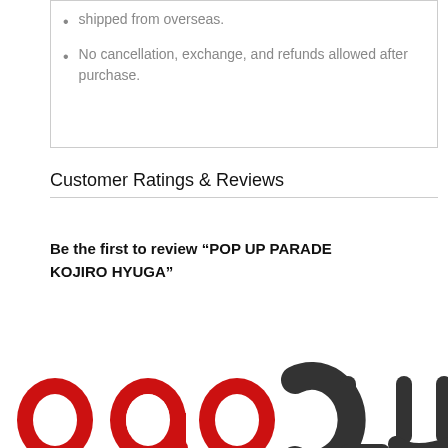shipped from overseas.
No cancellation, exchange, and refunds allowed after purchase.
Customer Ratings & Reviews
Be the first to review “POP UP PARADE KOJIRO HYUGA”
[Figure (logo): Partial logo at bottom of page showing large red and dark gray rounded letterforms]